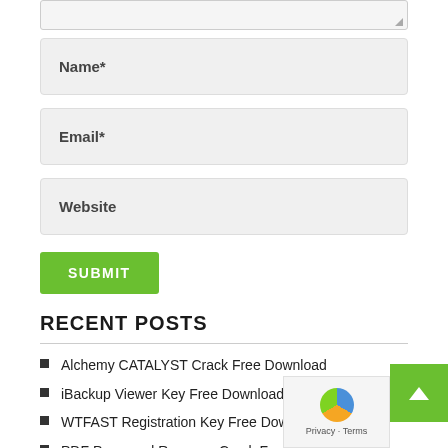[Figure (screenshot): Textarea input field stub at top of page, partially visible]
Name*
Email*
Website
SUBMIT
RECENT POSTS
Alchemy CATALYST Crack Free Download
iBackup Viewer Key Free Download
WTFAST Registration Key Free Download
PDF Password Remover Crack Free